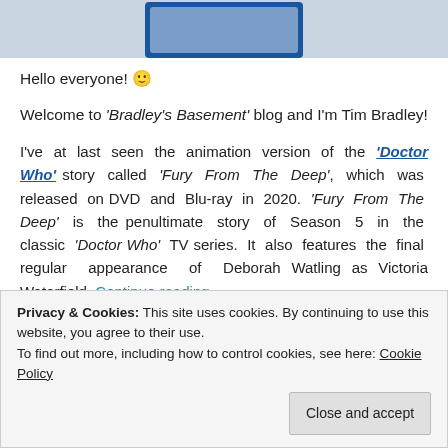[Figure (photo): Partial view of a Doctor Who DVD/Blu-ray box set with blue border at top of page]
Hello everyone! 🙂
Welcome to 'Bradley's Basement' blog and I'm Tim Bradley!
I've at last seen the animation version of the 'Doctor Who' story called 'Fury From The Deep', which was released on DVD and Blu-ray in 2020. 'Fury From The Deep' is the penultimate story of Season 5 in the classic 'Doctor Who' TV series. It also features the final regular appearance of Deborah Watling as Victoria Waterfield. Continue reading →
Privacy & Cookies: This site uses cookies. By continuing to use this website, you agree to their use.
To find out more, including how to control cookies, see here: Cookie Policy